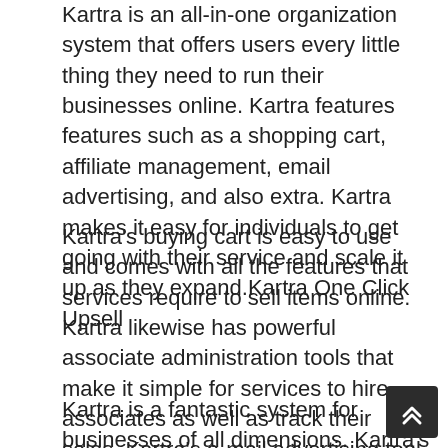Kartra is an all-in-one organization system that offers users every little thing they need to run their businesses online. Kartra features features such as a shopping cart, affiliate management, email advertising, and also extra. Kartra makes it easy for individuals to get going with their service and scale it up as they expand.Kartra One Click Upsell
Kartra's buying cart is easy to use and comes with all the features that services require to sell items online. Kartra likewise has powerful associate administration tools that make it simple for services to hire associates as well as track their sales. Kartra's e-mail advertising tool enables services to send automated emails to their consumers as well as potential customers.
Kartra is a fantastic system for businesses of all dimensions. Kartra's functions are easy to use and also Kartra makes it simple for organizations to